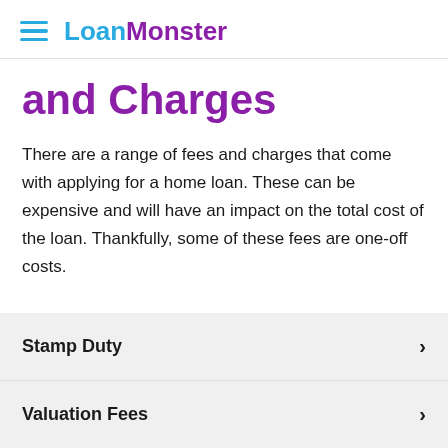LoanMonster
and Charges
There are a range of fees and charges that come with applying for a home loan. These can be expensive and will have an impact on the total cost of the loan. Thankfully, some of these fees are one-off costs.
Stamp Duty
Valuation Fees